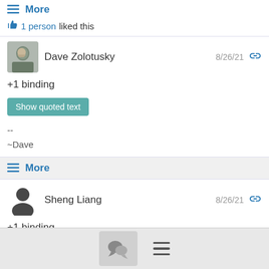≡ More
👍 1 person liked this
Dave Zolotusky  8/26/21
+1 binding
Show quoted text
--
~Dave
≡ More
Sheng Liang  8/26/21
+1 binding